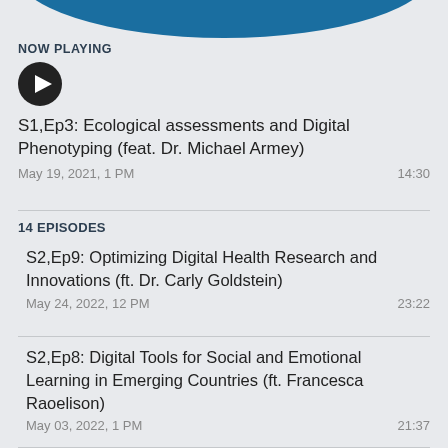[Figure (illustration): Blue circular arc/wave design at top of page]
NOW PLAYING
[Figure (other): Black circular play button icon]
S1,Ep3: Ecological assessments and Digital Phenotyping (feat. Dr. Michael Armey)
May 19, 2021, 1 PM    14:30
14 EPISODES
S2,Ep9: Optimizing Digital Health Research and Innovations (ft. Dr. Carly Goldstein)
May 24, 2022, 12 PM    23:22
S2,Ep8: Digital Tools for Social and Emotional Learning in Emerging Countries (ft. Francesca Raoelison)
May 03, 2022, 1 PM    21:37